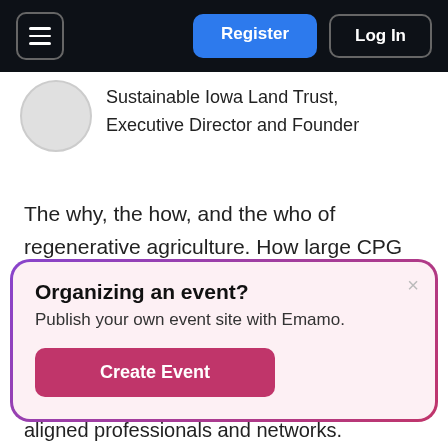Register | Log In
Sustainable Iowa Land Trust, Executive Director and Founder
The why, the how, and the who of regenerative agriculture. How large CPG and Ag companies, community supporters, and farmers are thinking about regen ag. How and why we must mobilize capital to create innovation and demand. How regen ag
[Figure (screenshot): Popup modal with gradient border. Title: 'Organizing an event?' Subtitle: 'Publish your own event site with Emamo.' Button: 'Create Event']
aligned professionals and networks.